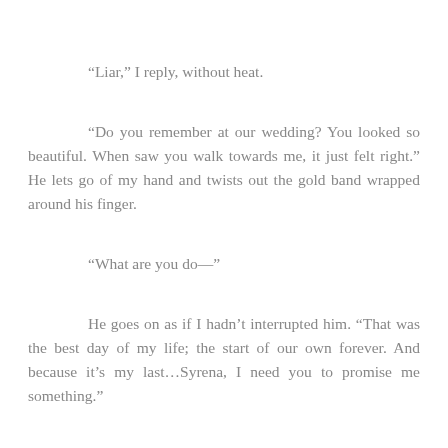“Liar,” I reply, without heat.
“Do you remember at our wedding? You looked so beautiful. When saw you walk towards me, it just felt right.” He lets go of my hand and twists out the gold band wrapped around his finger.
“What are you do—”
He goes on as if I hadn’t interrupted him. “That was the best day of my life; the start of our own forever. And because it’s my last…Syrena, I need you to promise me something.”